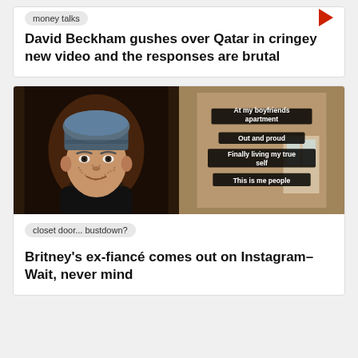money talks
David Beckham gushes over Qatar in cringey new video and the responses are brutal
[Figure (photo): Split image: left side shows a man wearing a blue beanie hat with stubble; right side shows a beige wall/window with black overlaid text labels]
closet door... bustdown?
Britney's ex-fiancé comes out on Instagram–Wait, never mind